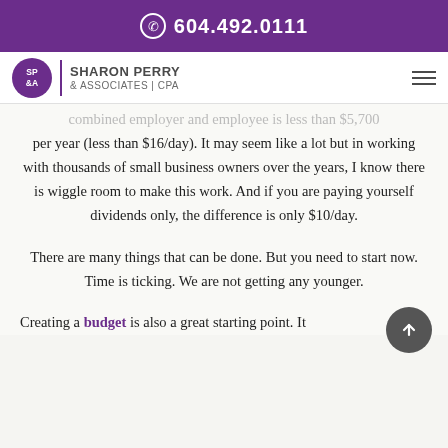604.492.0111
[Figure (logo): Sharon Perry & Associates CPA logo with purple circle SP&A initials and company name]
combined employer and employee is less than $5,700 per year (less than $16/day). It may seem like a lot but in working with thousands of small business owners over the years, I know there is wiggle room to make this work. And if you are paying yourself dividends only, the difference is only $10/day.
There are many things that can be done. But you need to start now. Time is ticking. We are not getting any younger.
Creating a budget is also a great starting point. It